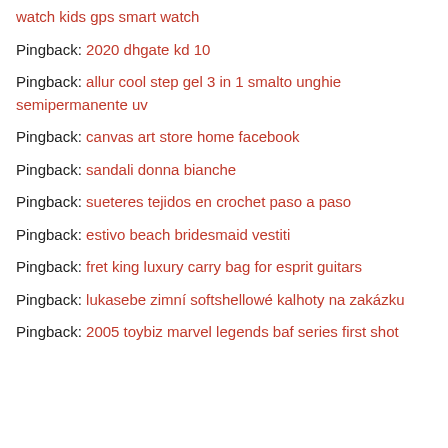watch kids gps smart watch
Pingback: 2020 dhgate kd 10
Pingback: allur cool step gel 3 in 1 smalto unghie semipermanente uv
Pingback: canvas art store home facebook
Pingback: sandali donna bianche
Pingback: sueteres tejidos en crochet paso a paso
Pingback: estivo beach bridesmaid vestiti
Pingback: fret king luxury carry bag for esprit guitars
Pingback: lukasebe zimní softshellové kalhoty na zakázku
Pingback: 2005 toybiz marvel legends baf series first shot